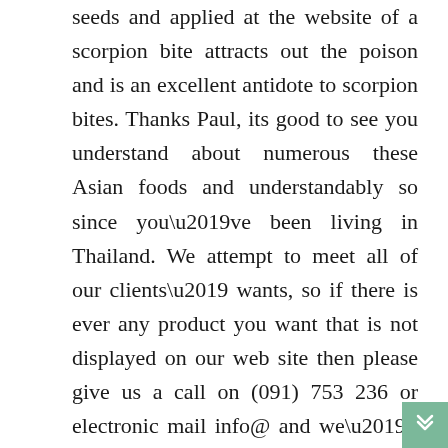seeds and applied at the website of a scorpion bite attracts out the poison and is an excellent antidote to scorpion bites. Thanks Paul, its good to see you understand about numerous these Asian foods and understandably so since you’ve been living in Thailand. We attempt to meet all of our clients’ wants, so if there is ever any product you want that is not displayed on our web site then please give us a call on (091) 753 236 or electronic mail info@ and we’ll do our easiest to get the product added to our webstore for you. Learn more about our present presents in store and where to find particular provide coupons to redeem in Go Vita shops.